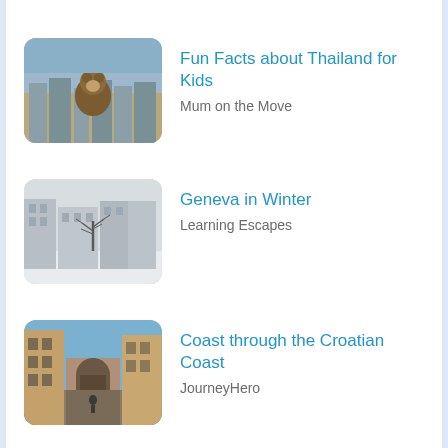Fun Facts about Thailand for Kids — Mum on the Move
Geneva in Winter — Learning Escapes
Coast through the Croatian Coast — JourneyHero